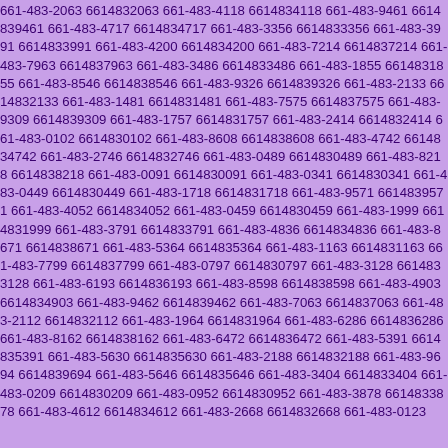661-483-2063 6614832063 661-483-4118 6614834118 661-483-9461 6614839461 661-483-4717 6614834717 661-483-3356 6614833356 661-483-3991 6614833991 661-483-4200 6614834200 661-483-7214 6614837214 661-483-7963 6614837963 661-483-3486 6614833486 661-483-1855 6614831855 661-483-8546 6614838546 661-483-9326 6614839326 661-483-2133 6614832133 661-483-1481 6614831481 661-483-7575 6614837575 661-483-9309 6614839309 661-483-1757 6614831757 661-483-2414 6614832414 661-483-0102 6614830102 661-483-8608 6614838608 661-483-4742 6614834742 661-483-2746 6614832746 661-483-0489 6614830489 661-483-8218 6614838218 661-483-0091 6614830091 661-483-0341 6614830341 661-483-0449 6614830449 661-483-1718 6614831718 661-483-9571 6614839571 661-483-4052 6614834052 661-483-0459 6614830459 661-483-1999 6614831999 661-483-3791 6614833791 661-483-4836 6614834836 661-483-8671 6614838671 661-483-5364 6614835364 661-483-1163 6614831163 661-483-7799 6614837799 661-483-0797 6614830797 661-483-3128 6614833128 661-483-6193 6614836193 661-483-8598 6614838598 661-483-4903 6614834903 661-483-9462 6614839462 661-483-7063 6614837063 661-483-2112 6614832112 661-483-1964 6614831964 661-483-6286 6614836286 661-483-8162 6614838162 661-483-6472 6614836472 661-483-5391 6614835391 661-483-5630 6614835630 661-483-2188 6614832188 661-483-9694 6614839694 661-483-5646 6614835646 661-483-3404 6614833404 661-483-0209 6614830209 661-483-0952 6614830952 661-483-3878 6614833878 661-483-4612 6614834612 661-483-2668 6614832668 661-483-0123